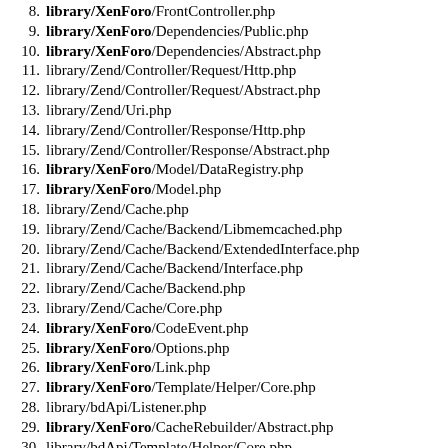8. library/XenForo/FrontController.php
9. library/XenForo/Dependencies/Public.php
10. library/XenForo/Dependencies/Abstract.php
11. library/Zend/Controller/Request/Http.php
12. library/Zend/Controller/Request/Abstract.php
13. library/Zend/Uri.php
14. library/Zend/Controller/Response/Http.php
15. library/Zend/Controller/Response/Abstract.php
16. library/XenForo/Model/DataRegistry.php
17. library/XenForo/Model.php
18. library/Zend/Cache.php
19. library/Zend/Cache/Backend/Libmemcached.php
20. library/Zend/Cache/Backend/ExtendedInterface.php
21. library/Zend/Cache/Backend/Interface.php
22. library/Zend/Cache/Backend.php
23. library/Zend/Cache/Core.php
24. library/XenForo/CodeEvent.php
25. library/XenForo/Options.php
26. library/XenForo/Link.php
27. library/XenForo/Template/Helper/Core.php
28. library/bdApi/Listener.php
29. library/XenForo/CacheRebuilder/Abstract.php
30. library/bdApi/Template/Helper/Core.php
31. library/phc/KeywordManagement/Listener/Listener.php
32. library/bdTagMe/Listener.php
33. library/bdTagMe/Helper/Template.php